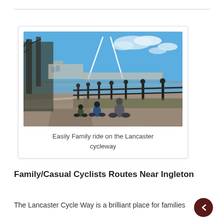[Figure (photo): Cyclists riding along a riverside path next to ornamental iron railings. A modern cable bridge is visible in the background spanning a river. Trees line the left side. Blue sky with scattered white clouds.]
Easily Family ride on the Lancaster cycleway
Family/Casual Cyclists Routes Near Ingleton
The Lancaster Cycle Way is a brilliant place for families